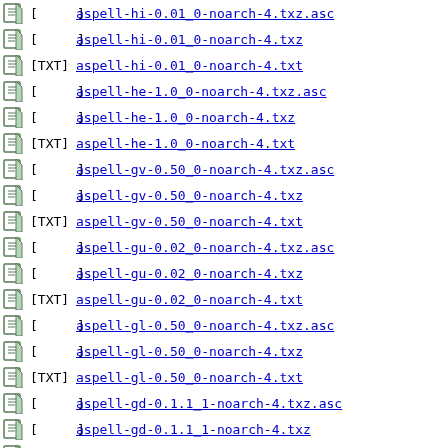[ ] aspell-hi-0.01_0-noarch-4.txz.asc
[ ] aspell-hi-0.01_0-noarch-4.txz
[TXT] aspell-hi-0.01_0-noarch-4.txt
[ ] aspell-he-1.0_0-noarch-4.txz.asc
[ ] aspell-he-1.0_0-noarch-4.txz
[TXT] aspell-he-1.0_0-noarch-4.txt
[ ] aspell-gv-0.50_0-noarch-4.txz.asc
[ ] aspell-gv-0.50_0-noarch-4.txz
[TXT] aspell-gv-0.50_0-noarch-4.txt
[ ] aspell-gu-0.02_0-noarch-4.txz.asc
[ ] aspell-gu-0.02_0-noarch-4.txz
[TXT] aspell-gu-0.02_0-noarch-4.txt
[ ] aspell-gl-0.50_0-noarch-4.txz.asc
[ ] aspell-gl-0.50_0-noarch-4.txz
[TXT] aspell-gl-0.50_0-noarch-4.txt
[ ] aspell-gd-0.1.1_1-noarch-4.txz.asc
[ ] aspell-gd-0.1.1_1-noarch-4.txz
[TXT] aspell-gd-0.1.1_1-noarch-4.txt
[ ] aspell-ga-3.6_0-noarch-4.txz.asc
[ ] aspell-ga-3.6_0-noarch-4.txz
[TXT] aspell-ga-3.6_0-noarch-4.txt
[ ] aspell-fr-0.50_3-noarch-4.txz.asc
[ ] aspell-fr-0.50_3-noarch-4.txz
[TXT] aspell-fr-0.50_3-noarch-4.txt
[ ] aspell-fo-0.2.16_1-noarch-4.txz.asc
[ ] aspell-fo-0.2.16_1-noarch-4.txz
[TXT] aspell-fo-0.2.16_1-noarch-4.txt
[ ] aspell-fi-0.7_0-noarch-4.txz.asc
[ ] aspell-fi-0.7_0-noarch-4.txz